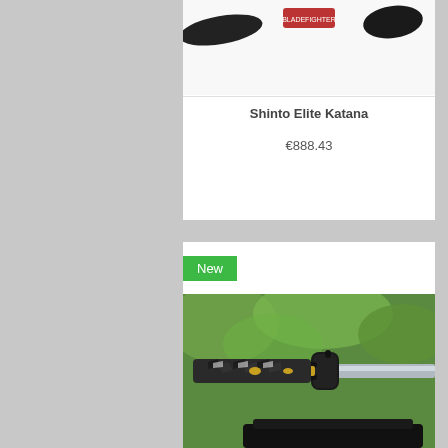[Figure (photo): Close-up photo of a katana sword handle (tsuka) with black wrapping and tsuba guard, with green foliage background]
Shinto Elite Katana
€888.43
[Figure (photo): Close-up photograph of katana sword handle with black ray skin grip wrap and matching black tsuba guard, displayed on a black stand with blurred green trees in background]
[Figure (logo): WhatsApp green circle logo with phone handset icon]